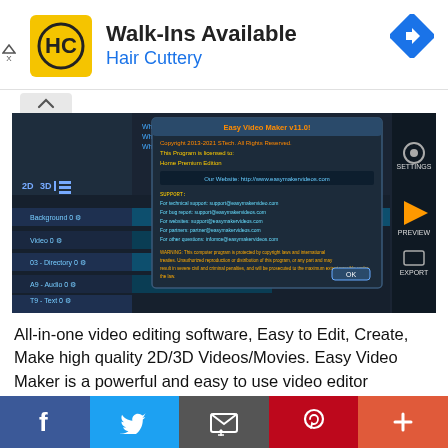[Figure (advertisement): Hair Cuttery advertisement banner with yellow/black HC logo, text 'Walk-Ins Available' and 'Hair Cuttery' in blue, and a blue navigation arrow icon on the right]
[Figure (screenshot): Screenshot of Easy Video Maker v11.0 software interface showing a dark-themed video editor with timeline, settings panel, preview area, and an about/license dialog box open in the center]
All-in-one video editing software, Easy to Edit, Create, Make high quality 2D/3D Videos/Movies. Easy Video Maker is a powerful and easy to use video editor program that's sure to meet just about every one of your video creation needs. With Easy Video Maker we
[Figure (infographic): Social sharing bar with Facebook, Twitter, Email, Pinterest, and More (+) buttons]